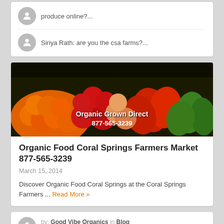produce online?...
Siriya Rath: are you the csa farms?...
[Figure (photo): Photo of colorful produce (tomatoes, oranges, peppers) at a farmers market stand with text overlay: Organic Grown Direct 877-565-3239]
Organic Food Coral Springs Farmers Market 877-565-3239
March 15, 2014
Discover Organic Food Coral Springs at the Coral Springs Farmers ... Read More »
by: Good Vibe Organics in Blog 139 Comments Off 0